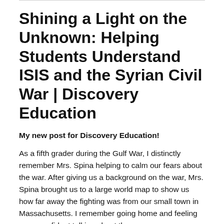Shining a Light on the Unknown: Helping Students Understand ISIS and the Syrian Civil War | Discovery Education
My new post for Discovery Education!
As a fifth grader during the Gulf War, I distinctly remember Mrs. Spina helping to calm our fears about the war. After giving us a background on the war, Mrs. Spina brought us to a large world map to show us how far away the fighting was from our small town in Massachusetts. I remember going home and feeling more confidant talking about the